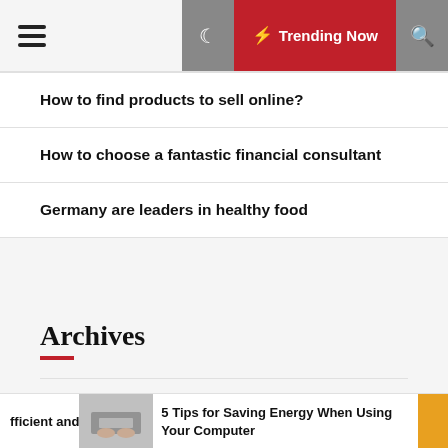≡  🌙  ⚡ Trending Now  🔍
How to find products to sell online?
How to choose a fantastic financial consultant
Germany are leaders in healthy food
Archives
July 2022
February 2022
fficient and
[Figure (photo): Person's hands on a laptop keyboard, blurred background]
5 Tips for Saving Energy When Using Your Computer